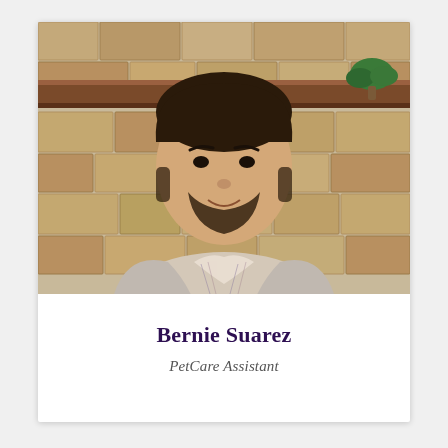[Figure (photo): Portrait photo of a young man with a beard, wearing a light gray blazer over a plaid shirt, seated against a stone wall background with a wooden shelf and small plant visible behind him.]
Bernie Suarez
PetCare Assistant